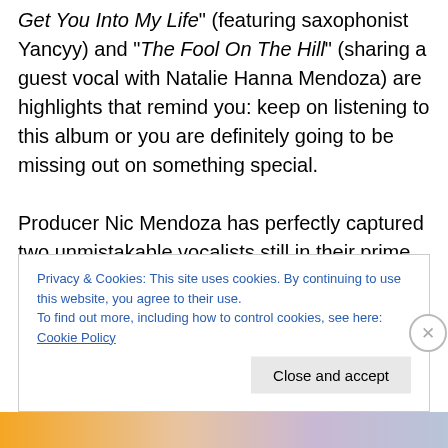Get You Into My Life" (featuring saxophonist Yancyy) and "The Fool On The Hill" (sharing a guest vocal with Natalie Hanna Mendoza) are highlights that remind you: keep on listening to this album or you are definitely going to be missing out on something special.

Producer Nic Mendoza has perfectly captured two unmistakable vocalists still in their prime. The social injustices we continue to endure and the over-arching messages of remembrance here are undeniably powerful and personal for both McCoo & Davis. Collectively, they
Privacy & Cookies: This site uses cookies. By continuing to use this website, you agree to their use.
To find out more, including how to control cookies, see here: Cookie Policy